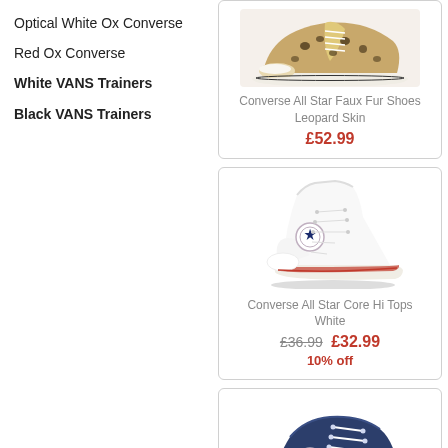Optical White Ox Converse
Red Ox Converse
White VANS Trainers
Black VANS Trainers
[Figure (photo): Converse All Star Faux Fur Shoes Leopard Skin low-top sneaker with leopard print upper]
Converse All Star Faux Fur Shoes Leopard Skin
£52.99
[Figure (photo): Converse All Star Core Hi Tops White high-top sneaker in white]
Converse All Star Core Hi Tops White
£36.99  £32.99  10% off
[Figure (photo): Converse low-top sneaker in navy blue, partial view]